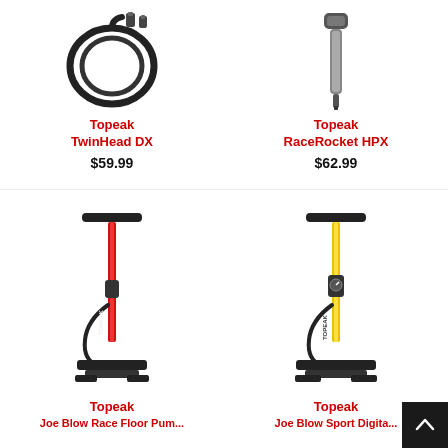[Figure (photo): Topeak TwinHead DX pump head/hose accessory in black, shown coiled with adapters]
Topeak
TwinHead DX
$59.99
[Figure (photo): Topeak RaceRocket HPX mini pump in black/grey, shown vertically]
Topeak
RaceRocket HPX
$62.99
[Figure (photo): Topeak floor pump in red and black with T-bar handle and base]
Topeak
Joe Blow Race Floor Pump
[Figure (photo): Topeak floor pump in yellow and black with T-bar handle, base, and pressure gauge]
Topeak
Joe Blow Sport Digital